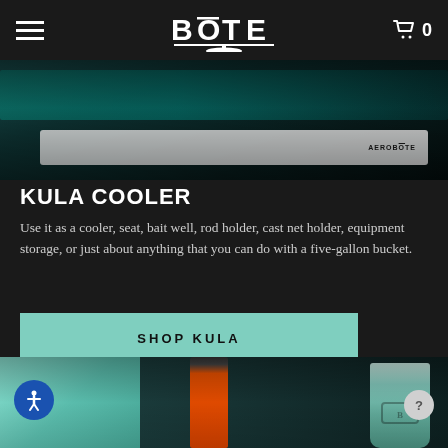BŌTE — Navigation header with hamburger menu, BOTE logo, and cart (0 items)
[Figure (photo): Aerial/close-up photo of a paddleboard on water, with AEROBOTE branding visible on the board]
KULA COOLER
Use it as a cooler, seat, bait well, rod holder, cast net holder, equipment storage, or just about anything that you can do with a five-gallon bucket.
SHOP KULA
[Figure (photo): Close-up photo showing a teal inflatable paddleboard, an orange drink container, a mint/teal BOTE branded tumbler cup, and a person's hand]